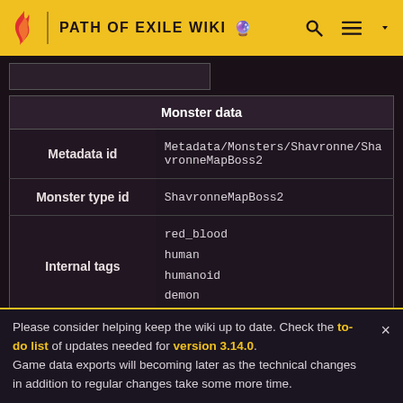PATH OF EXILE WIKI
| Monster data |
| --- |
| Metadata id | Metadata/Monsters/Shavronne/ShavronneMapBoss2 |
| Monster type id | ShavronneMapBoss2 |
| Internal tags | red_blood
human
humanoid
demon |
Please consider helping keep the wiki up to date. Check the to-do list of updates needed for version 3.14.0. Game data exports will becoming later as the technical changes in addition to regular changes take some more time.